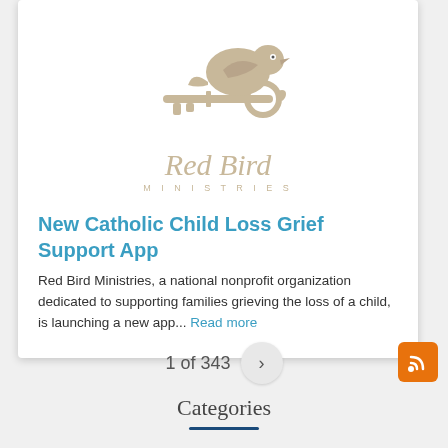[Figure (logo): Red Bird Ministries logo: a bird perched on a key, with 'Red Bird' in gold script and 'MINISTRIES' in gold uppercase letters below]
New Catholic Child Loss Grief Support App
Red Bird Ministries, a national nonprofit organization dedicated to supporting families grieving the loss of a child, is launching a new app... Read more
1 of 343
Categories